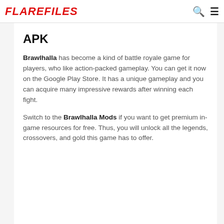FLAREFILES
APK
Brawlhalla has become a kind of battle royale game for players, who like action-packed gameplay. You can get it now on the Google Play Store. It has a unique gameplay and you can acquire many impressive rewards after winning each fight.
Switch to the Brawlhalla Mods if you want to get premium in-game resources for free. Thus, you will unlock all the legends, crossovers, and gold this game has to offer.